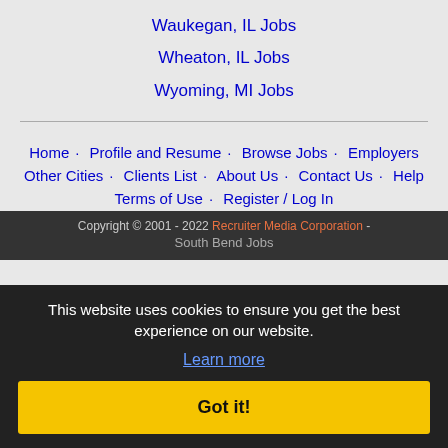Waukegan, IL Jobs
Wheaton, IL Jobs
Wyoming, MI Jobs
Home · Profile and Resume · Browse Jobs · Employers · Other Cities · Clients List · About Us · Contact Us · Help · Terms of Use · Register / Log In
Copyright © 2001 - 2022 Recruiter Media Corporation - South Bend Jobs
This website uses cookies to ensure you get the best experience on our website.
Learn more
Got it!